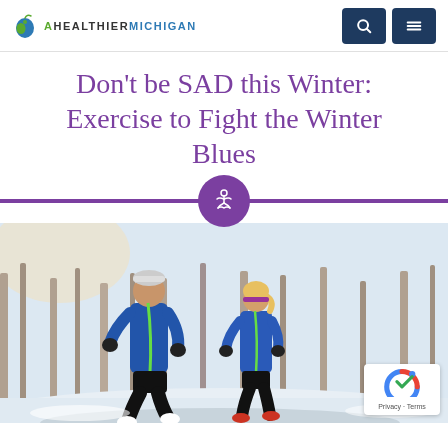AHEALTHIERMICHIGAN
Don't be SAD this Winter: Exercise to Fight the Winter Blues
[Figure (photo): Two people in blue athletic jackets running outdoors in winter, with snow and bare trees in the background. Both wear gloves and winter hats.]